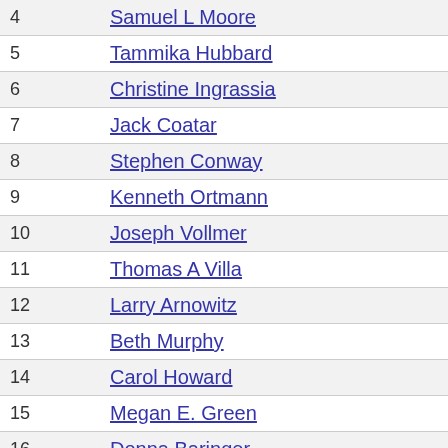| # | Name |
| --- | --- |
| 4 | Samuel L Moore |
| 5 | Tammika Hubbard |
| 6 | Christine Ingrassia |
| 7 | Jack Coatar |
| 8 | Stephen Conway |
| 9 | Kenneth Ortmann |
| 10 | Joseph Vollmer |
| 11 | Thomas A Villa |
| 12 | Larry Arnowitz |
| 13 | Beth Murphy |
| 14 | Carol Howard |
| 15 | Megan E. Green |
| 16 | Donna Baringer |